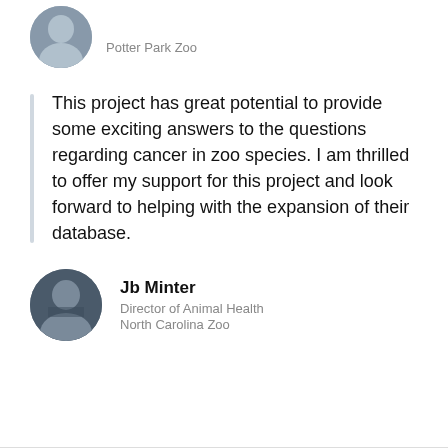[Figure (photo): Circular avatar photo of a person, partially cropped at the top of the page]
Director
Potter Park Zoo
This project has great potential to provide some exciting answers to the questions regarding cancer in zoo species. I am thrilled to offer my support for this project and look forward to helping with the expansion of their database.
[Figure (photo): Circular avatar photo of Jb Minter]
Jb Minter
Director of Animal Health
North Carolina Zoo